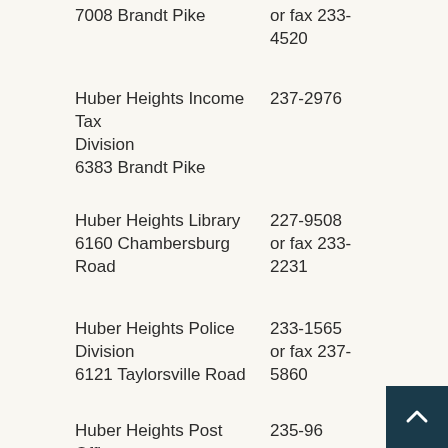7008 Brandt Pike
or fax 233-4520
Huber Heights Income Tax Division
6383 Brandt Pike
237-2976
Huber Heights Library
6160 Chambersburg Road
227-9508
or fax 233-2231
Huber Heights Police Division
6121 Taylorsville Road
233-1565
or fax 237-5860
Huber Heights Post Office
5425 Fishburg Road
235-96...